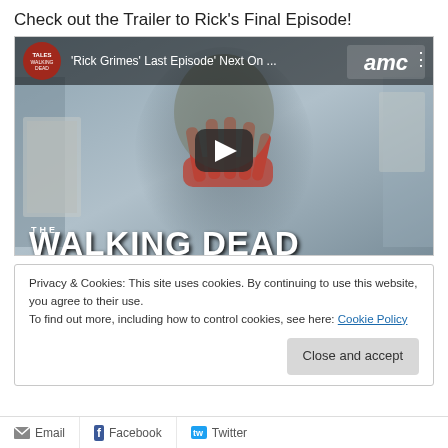Check out the Trailer to Rick's Final Episode!
[Figure (screenshot): YouTube video thumbnail for 'Rick Grimes Last Episode Next On ...' showing The Walking Dead title card with AMC logo and a play button overlay. A man (Rick Grimes) holds a bloody hand over his face. Walking Dead logo text at bottom.]
Privacy & Cookies: This site uses cookies. By continuing to use this website, you agree to their use.
To find out more, including how to control cookies, see here: Cookie Policy
Close and accept
Email   Facebook   Twitter